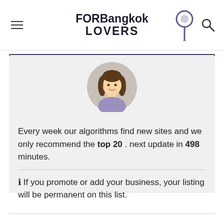FORBangkok LOVERS
[Figure (illustration): Circular avatar illustration of a cartoon woman with brown hair wearing a purple top, on a gray circular background]
Every week our algorithms find new sites and we only recommend the top 20 . next update in 498 minutes.
ℹ If you promote or add your business, your listing will be permanent on this list.